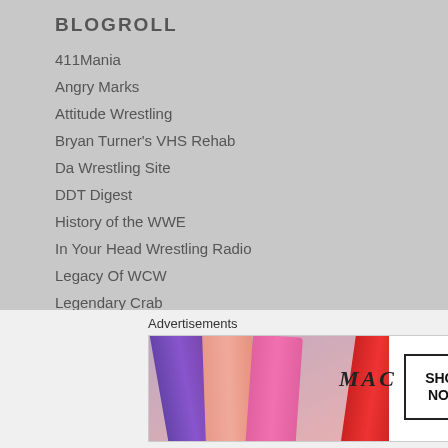BLOGROLL
411Mania
Angry Marks
Attitude Wrestling
Bryan Turner's VHS Rehab
Da Wrestling Site
DDT Digest
History of the WWE
In Your Head Wrestling Radio
Legacy Of WCW
Legendary Crab
McXal ROH Reviews
PDR Wrestling
Play It Forward
PWWEW
Advertisements
[Figure (photo): MAC Cosmetics advertisement showing lipsticks in purple, peach, pink, and red colors with MAC logo and SHOP NOW box]